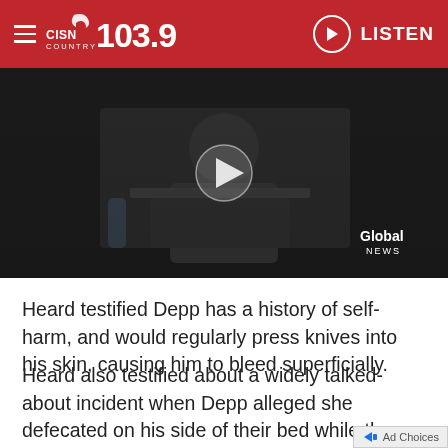CISN Country 103.9 — LISTEN
[Figure (screenshot): Dark video thumbnail showing a person in a courtroom setting with a play button overlay. Global News watermark in bottom-right corner.]
Heard testified Depp has a history of self-harm, and would regularly press knives into his skin, causing him to bleed superficially.
Heard also testified about a widely talked-about incident when Depp alleged she defecated on his side of their bed while they were married. She vehemently denied the act, claiming it is “disgusting” and that she “was not in a pranking mood” because “my life was falling apart.